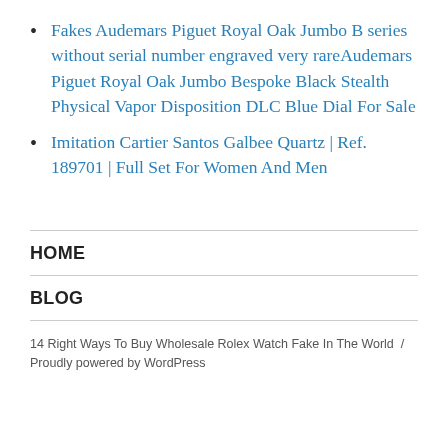Fakes Audemars Piguet Royal Oak Jumbo B series without serial number engraved very rareAudemars Piguet Royal Oak Jumbo Bespoke Black Stealth Physical Vapor Disposition DLC Blue Dial For Sale
Imitation Cartier Santos Galbee Quartz | Ref. 189701 | Full Set For Women And Men
HOME
BLOG
14 Right Ways To Buy Wholesale Rolex Watch Fake In The World  /  Proudly powered by WordPress